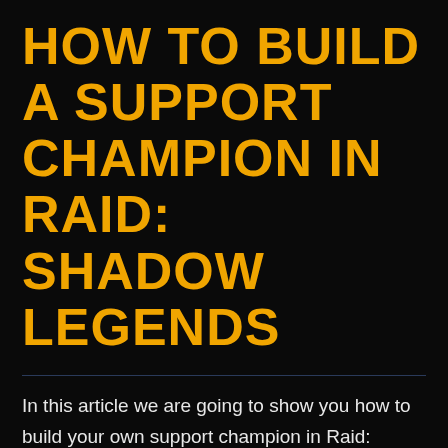HOW TO BUILD A SUPPORT CHAMPION IN RAID: SHADOW LEGENDS
In this article we are going to show you how to build your own support champion in Raid: Shadow